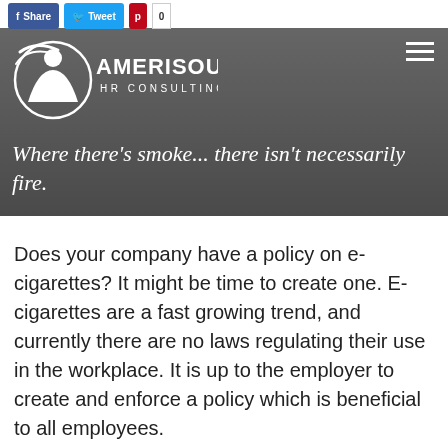f Share  Tweet  p 0
[Figure (logo): Amerisource HR Consulting Group logo — white circular figure mark with text AMERISOURCE HR CONSULTING GROUP on dark grey banner background]
Where there's smoke... there isn't necessarily fire.
Does your company have a policy on e-cigarettes? It might be time to create one. E-cigarettes are a fast growing trend, and currently there are no laws regulating their use in the workplace. It is up to the employer to create and enforce a policy which is beneficial to all employees.